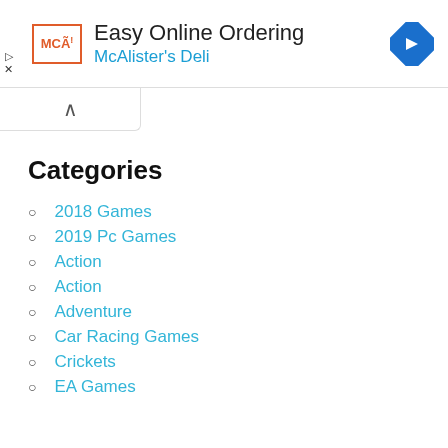[Figure (infographic): Advertisement banner for McAlister's Deli Easy Online Ordering with logo and navigation arrow icon]
Easy Online Ordering
McAlister's Deli
Categories
2018 Games
2019 Pc Games
Action
Action
Adventure
Car Racing Games
Crickets
EA Games